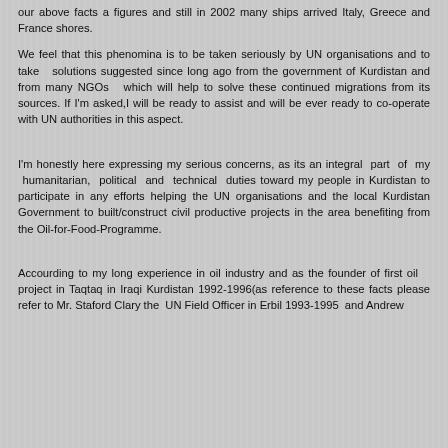our above facts a figures and still in 2002 many ships arrived Italy, Greece and France shores.
We feel that this phenomina is to be taken seriously by UN organisations and to take  solutions suggested since long ago from the government of Kurdistan and from many NGOs  which will help to solve these continued migrations from its sources. If I'm asked,I will be ready to assist and will be ever ready to co-operate with UN authorities in this aspect.
I'm honestly here expressing my serious concerns, as its an integral  part  of  my  humanitarian,  political  and  technical  duties toward my people in Kurdistan to participate in any efforts helping the UN organisations and the local Kurdistan Government to built/construct civil productive projects in the area benefiting from the Oil-for-Food-Programme.
Accourding to my long experience in oil industry and as the founder of first oil   project in Taqtaq in Iraqi Kurdistan 1992-1996(as reference to these facts please refer to Mr. Staford Clary the  UN Field Officer in Erbil 1993-1995  and Andrew